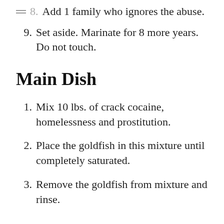8. Add 1 family who ignores the abuse.
9. Set aside. Marinate for 8 more years. Do not touch.
Main Dish
1. Mix 10 lbs. of crack cocaine, homelessness and prostitution.
2. Place the goldfish in this mixture until completely saturated.
3. Remove the goldfish from mixture and rinse.